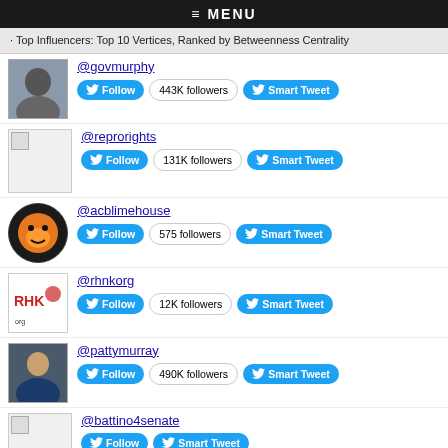Top Influencers: Top 10 Vertices, Ranked by Betweenness Centrality
@govmurphy – 443K followers
@reprorights – 131K followers
@acblimehouse – 575 followers
@rhnkorg – 12K followers
@pattymurray – 490K followers
@battino4senate
@abukaalfred – 5,217 followers